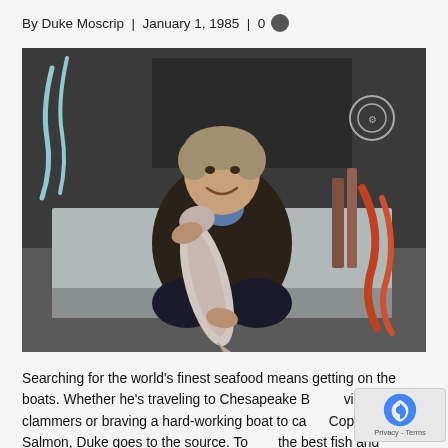By Duke Moscrip | January 1, 1985 | 0 💬
[Figure (photo): A smiling man crouching on a fishing boat, holding up a large salmon with both hands. He is wearing a dark jacket. Behind him is fishing equipment, ropes, and hoses on the boat deck.]
Searching for the world's finest seafood means getting on the boats. Whether he's traveling to Chesapeake Bay to visit clammers or braving a hard-working boat to catch Copper River Salmon, Duke goes to the source. To find the best fish and seafood, you have to know the source.